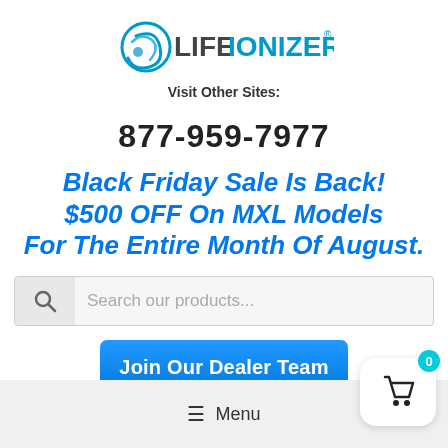[Figure (logo): Life Ionizers logo with blue swirl icon and text]
Visit Other Sites:
877-959-7977
Black Friday Sale Is Back! $500 OFF On MXL Models For The Entire Month Of August.
[Figure (other): Search bar with magnifying glass icon and placeholder text 'Search our products...']
Join Our Dealer Team
≡ Menu